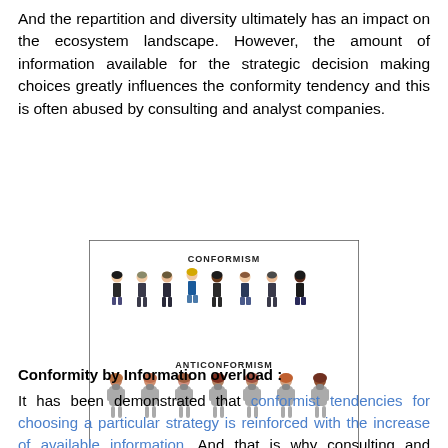And the repartition and diversity ultimately has an impact on the ecosystem landscape. However, the amount of information available for the strategic decision making choices greatly influences the conformity tendency and this is often abused by consulting and analyst companies.
[Figure (illustration): An illustration showing two rows of cartoon figures. The top row is labeled 'CONFORMISM' and shows diverse figures dressed in formal school uniforms (blazers, ties, skirts/trousers). The bottom row is labeled 'ANTICONFORMISM' and shows figures all dressed identically in grey hoodies.]
Conformity by Information overload :
It has been demonstrated that conformist tendencies for choosing a particular strategy is reinforced with the increase of available information. And that is why consulting and analyst companies are able to hook-in so many corporations